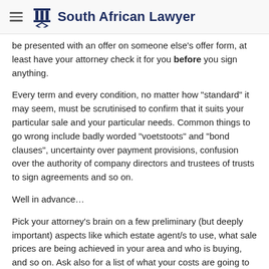South African Lawyer
be presented with an offer on someone else's offer form, at least have your attorney check it for you before you sign anything.
Every term and every condition, no matter how “standard” it may seem, must be scrutinised to confirm that it suits your particular sale and your particular needs. Common things to go wrong include badly worded “voetstoots” and “bond clauses”, uncertainty over payment provisions, confusion over the authority of company directors and trustees of trusts to sign agreements and so on.
Well in advance…
Pick your attorney’s brain on a few preliminary (but deeply important) aspects like which estate agent/s to use, what sale prices are being achieved in your area and who is buying, and so on. Ask also for a list of what your costs are going to be, when you are likely to get paid the purchase price etc so you can prepare a cash flow forecast. Get a start with all your compliance certificates and provide for the cost of any remedial work needed (normally on the electrical and plumbing side). You may also have to give up to 90 days’ notice